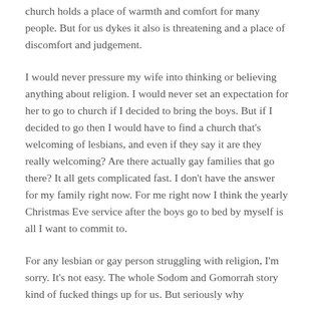church holds a place of warmth and comfort for many people. But for us dykes it also is threatening and a place of discomfort and judgement.
I would never pressure my wife into thinking or believing anything about religion. I would never set an expectation for her to go to church if I decided to bring the boys. But if I decided to go then I would have to find a church that's welcoming of lesbians, and even if they say it are they really welcoming? Are there actually gay families that go there? It all gets complicated fast. I don't have the answer for my family right now. For me right now I think the yearly Christmas Eve service after the boys go to bed by myself is all I want to commit to.
For any lesbian or gay person struggling with religion, I'm sorry. It's not easy. The whole Sodom and Gomorrah story kind of fucked things up for us. But seriously why